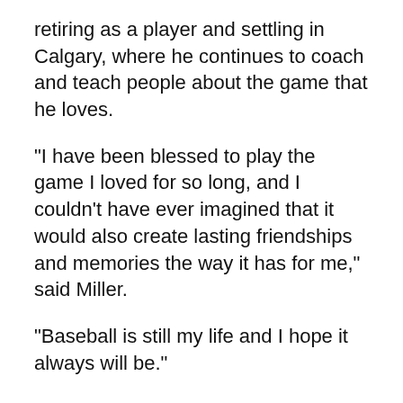retiring as a player and settling in Calgary, where he continues to coach and teach people about the game that he loves.
“I have been blessed to play the game I loved for so long, and I couldn’t have ever imagined that it would also create lasting friendships and memories the way it has for me,” said Miller.
“Baseball is still my life and I hope it always will be.”